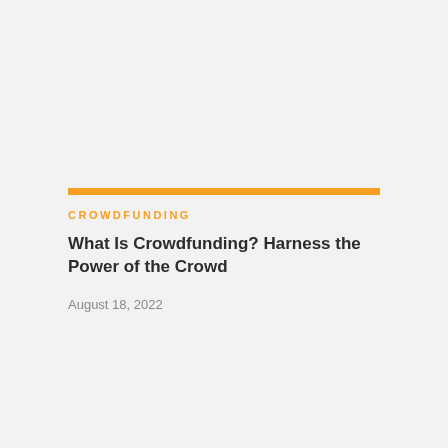CROWDFUNDING
What Is Crowdfunding? Harness the Power of the Crowd
August 18, 2022